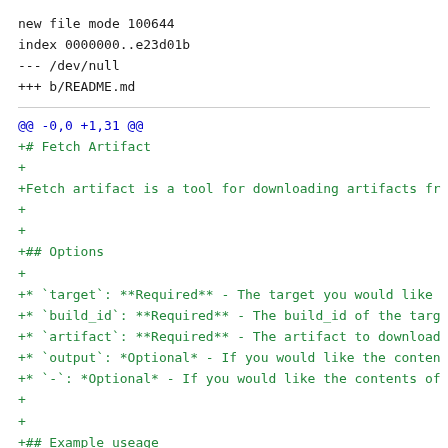new file mode 100644
index 0000000..e23d01b
--- /dev/null
+++ b/README.md
@@ -0,0 +1,31 @@
+# Fetch Artifact
+
+Fetch artifact is a tool for downloading artifacts fr
+
+
+## Options
+
+* `target`: **Required** - The target you would like
+* `build_id`: **Required** - The build_id of the targ
+* `artifact`: **Required** - The artifact to download
+* `output`: *Optional* - If you would like the conten
+* `-`: *Optional* - If you would like the contents of
+
+
+## Example useage
+